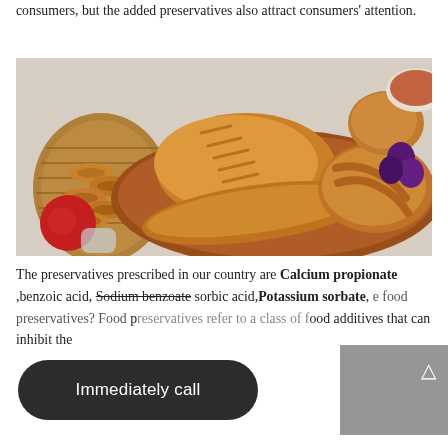consumers, but the added preservatives also attract consumers' attention.
[Figure (photo): Assortment of bread and baked goods displayed on a table — loaves, bagels, braided bread, and rolls arranged with fruits and a wicker basket]
The preservatives prescribed in our country are Calcium propionate ,benzoic acid, Sodium benzoate sorbic acid, Potassium sorbate, [overlay: Immediately call] [what] are food preservatives? Food preservatives refer to a class of food additives that can inhibit the